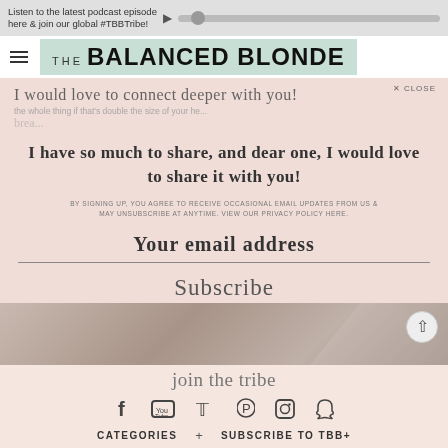Listen to the latest podcast episode here & join our global #TBBTribe!
[Figure (logo): The Balanced Blonde logo with hamburger menu icon and teal background]
I would love to connect deeper with you!
the whole thing if that's double the size of your he...
I have so much to share, and dear one, I would love to share it with you!
BY SIGNING UP, YOU AGREE TO RECEIVE OCCASIONAL EMAIL UPDATES FROM US & MAY UNSUBSCRIBE AT ANYTIME. VIEW OUR PRIVACY POLICY HERE.
Your email address
Subscribe
[Figure (photo): Blurred background photo of food or lifestyle content]
join the tribe
Social media icons: Facebook, YouTube, Twitter, Pinterest, Instagram, Snapchat
CATEGORIES + SUBSCRIBE TO TBB+